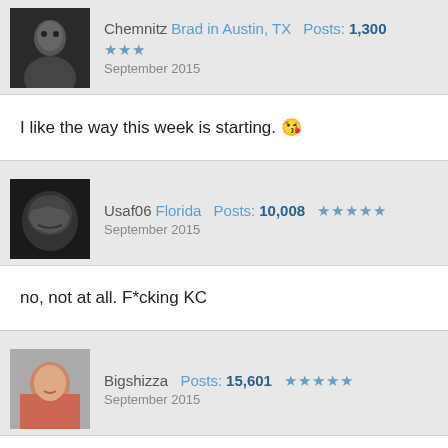Chemnitz Brad in Austin, TX Posts: 1,300 ★★★ September 2015
I like the way this week is starting. 😘
Usaf06 Florida Posts: 10,008 ★★★★★ September 2015
no, not at all. F*cking KC
Bigshizza Posts: 15,601 ★★★★★ September 2015
WTF... Peyton looks by Billy Kilmer out there (old Redskin